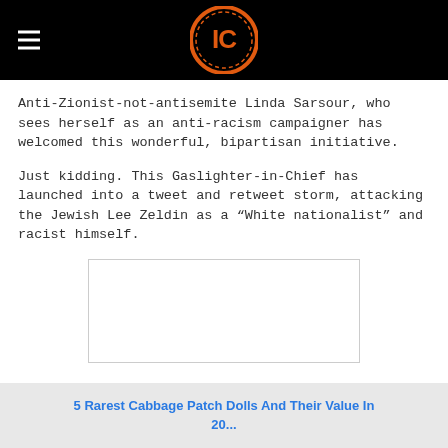IC [logo]
Anti-Zionist-not-antisemite Linda Sarsour, who sees herself as an anti-racism campaigner has welcomed this wonderful, bipartisan initiative.
Just kidding. This Gaslighter-in-Chief has launched into a tweet and retweet storm, attacking the Jewish Lee Zeldin as a “White nationalist” and racist himself.
[Figure (other): Embedded image block with border, content not visible]
5 Rarest Cabbage Patch Dolls And Their Value In 20...